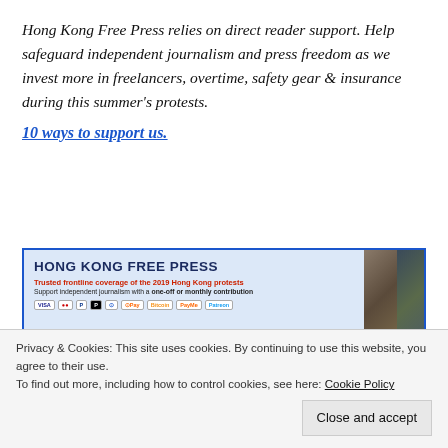Hong Kong Free Press relies on direct reader support. Help safeguard independent journalism and press freedom as we invest more in freelancers, overtime, safety gear & insurance during this summer's protests. 10 ways to support us.
[Figure (infographic): Hong Kong Free Press donation banner with text 'HONG KONG FREE PRESS - Trusted frontline coverage of the 2019 Hong Kong protests. Support independent journalism with a one-off or monthly contribution' and payment icons including VISA, Mastercard, PayPal, Apple Pay, Bitcoin, and others. Right side shows photos of journalists covering protests.]
Support HKFP | Code of Ethics | Error/typo? | Contact Us
Privacy & Cookies: This site uses cookies. By continuing to use this website, you agree to their use. To find out more, including how to control cookies, see here: Cookie Policy